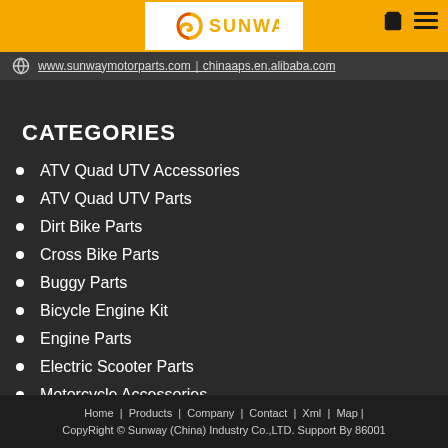SUNWAY
www.sunwaymotorparts.com｜chinaaps.en.alibaba.com
CATEGORIES
ATV Quad UTV Accessories
ATV Quad UTV Parts
Dirt Bike Parts
Cross Bike Parts
Buggy Parts
Bicycle Engine Kit
Engine Parts
Electric Scooter Parts
Motorcycle Accessories
Jet Ski Parts
Home | Products | Company | Contact | Xml | Map | CopyRight © Sunway (China) Industry Co.,LTD. Support By 86001